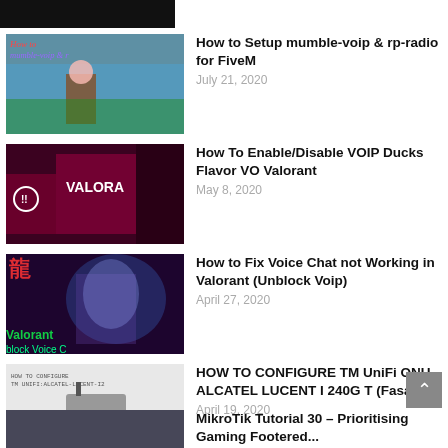[Figure (screenshot): Dark header/navigation bar at top of webpage]
How to Setup mumble-voip & rp-radio for FiveM
July 21, 2020
How To Enable/Disable VOIP Ducks Flavor VO Valorant
May 8, 2020
How to Fix Voice Chat not Working in Valorant (Unblock Voip)
April 27, 2020
HOW TO CONFIGURE TM UniFi ONU ALCATEL LUCENT I 240G T (Fasa 2)
April 19, 2020
MikroTik Tutorial 30 – Prioritising Gaming Footered...